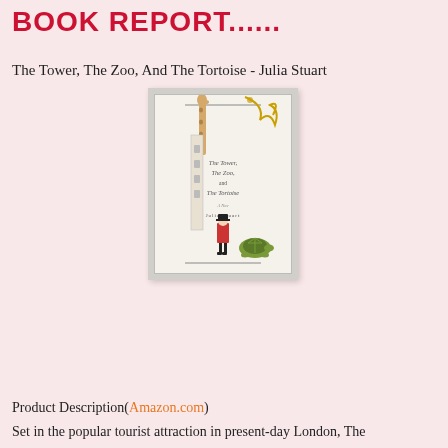BOOK REPORT......
The Tower, The Zoo, And The Tortoise - Julia Stuart
[Figure (illustration): Book cover of 'The Tower, The Zoo, And The Tortoise' by Julia Stuart, showing a giraffe, a Beefeater guard, a tortoise, and decorative gold flourishes on a cream background.]
Product Description(Amazon.com)
Set in the popular tourist attraction in present-day London, The